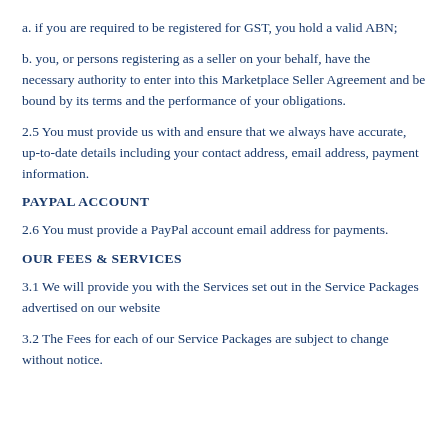a. if you are required to be registered for GST, you hold a valid ABN;
b. you, or persons registering as a seller on your behalf, have the necessary authority to enter into this Marketplace Seller Agreement and be bound by its terms and the performance of your obligations.
2.5 You must provide us with and ensure that we always have accurate, up-to-date details including your contact address, email address, payment information.
PAYPAL ACCOUNT
2.6 You must provide a PayPal account email address for payments.
OUR FEES & SERVICES
3.1 We will provide you with the Services set out in the Service Packages advertised on our website
3.2 The Fees for each of our Service Packages are subject to change without notice.